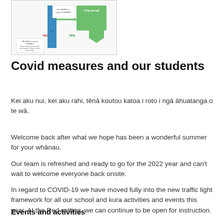[Figure (flowchart): A flowchart/decision diagram related to COVID casual contact guidance for households, with blue and green arrows and YES/NO decision branches]
Covid measures and our students
Kei aku nui, kei aku rahi, tēnā koutou katoa i roto i ngā āhuatanga o te wā.
Welcome back after what we hope has been a wonderful summer for your whānau.
Our team is refreshed and ready to go for the 2022 year and can't wait to welcome everyone back onsite.
In regard to COVID-19 we have moved fully into the new traffic light framework for all our school and kura activities and events this year. At the Red setting, we can continue to be open for instruction.
Events and activities
We have reviewed all our events and activities for the